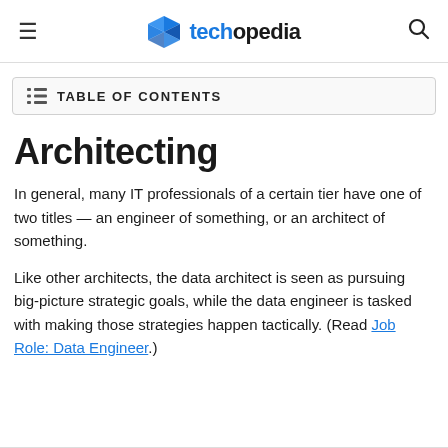techopedia
TABLE OF CONTENTS
Architecting
In general, many IT professionals of a certain tier have one of two titles — an engineer of something, or an architect of something.
Like other architects, the data architect is seen as pursuing big-picture strategic goals, while the data engineer is tasked with making those strategies happen tactically. (Read Job Role: Data Engineer.)